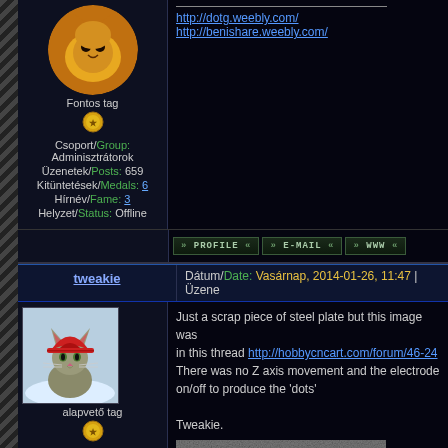[Figure (photo): User avatar - bird/eagle logo]
Fontos tag
[Figure (photo): Medal/badge icon]
Csoport/Group: Adminisztrátorok
Üzenetek/Posts: 659
Kitüntetések/Medals: 6
Hírnév/Fame: 3
Helyzet/Status: Offline
http://dotg.weebly.com/
http://benishare.weebly.com/
PROFILE  E-MAIL  WWW
tweakie
Dátum/Date: Vasárnap, 2014-01-26, 11:47 | Üzene
[Figure (photo): Cat with red hat avatar for user tweakie]
alapvető tag
[Figure (photo): Medal/badge icon]
Csoport/Group: Adminisztrátorok
Üzenetek/Posts: 1050
Kitüntetések/Medals: 6
Hírnév/Fame: 5
Helyzet/Status: Offline
Just a scrap piece of steel plate but this image was in this thread http://hobbycncart.com/forum/46-24 There was no Z axis movement and the electrode on/off to produce the 'dots'

Tweakie.
[Figure (photo): Engraved/etched image on steel plate - dark textured portrait]